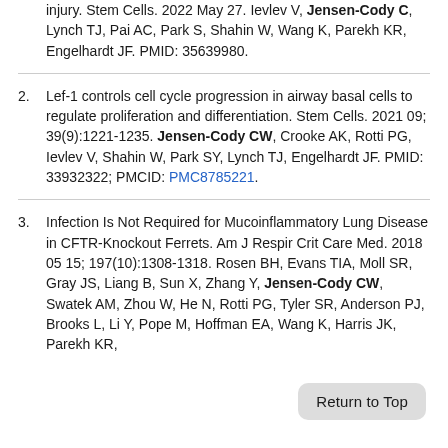injury. Stem Cells. 2022 May 27. Ievlev V, Jensen-Cody C, Lynch TJ, Pai AC, Park S, Shahin W, Wang K, Parekh KR, Engelhardt JF. PMID: 35639980.
2. Lef-1 controls cell cycle progression in airway basal cells to regulate proliferation and differentiation. Stem Cells. 2021 09; 39(9):1221-1235. Jensen-Cody CW, Crooke AK, Rotti PG, Ievlev V, Shahin W, Park SY, Lynch TJ, Engelhardt JF. PMID: 33932322; PMCID: PMC8785221.
3. Infection Is Not Required for Mucoinflammatory Lung Disease in CFTR-Knockout Ferrets. Am J Respir Crit Care Med. 2018 05 15; 197(10):1308-1318. Rosen BH, Evans TIA, Moll SR, Gray JS, Liang B, Sun X, Zhang Y, Jensen-Cody CW, Swatek AM, Zhou W, He N, Rotti PG, Tyler SR, Anderson PJ, Brooks L, Li Y, Pope M, Hoffman EA, Wang K, Harris JK, Parekh KR,